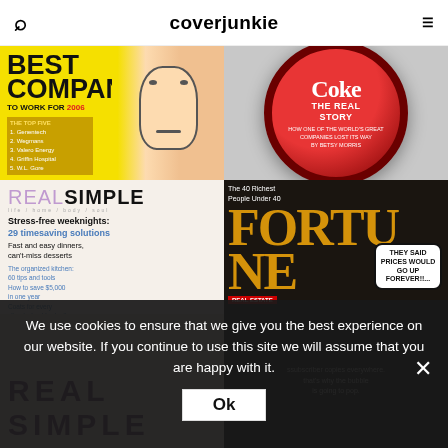coverjunkie
[Figure (illustration): Fortune magazine Best Companies to Work For 2006 cover with Dilbert cartoon character]
[Figure (illustration): Coke The Real Story magazine cover shaped like a bottle cap, by Betsy Morris]
[Figure (illustration): Real Simple magazine cover with stress-free weeknights article]
[Figure (illustration): Fortune magazine The 40 Richest People Under 40 cover]
[Figure (illustration): Real Simple magazine cover partial, bottom row]
We use cookies to ensure that we give you the best experience on our website. If you continue to use this site we will assume that you are happy with it.